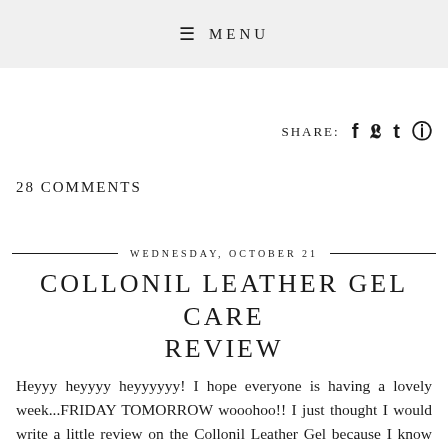☰ MENU
SHARE: f 𝕥 @
28 COMMENTS
WEDNESDAY, OCTOBER 21
COLLONIL LEATHER GEL CARE REVIEW
Heyyy heyyyy heyyyyyy! I hope everyone is having a lovely week...FRIDAY TOMORROW wooohoo!! I just thought I would write a little review on the Collonil Leather Gel because I know when I got my first ever